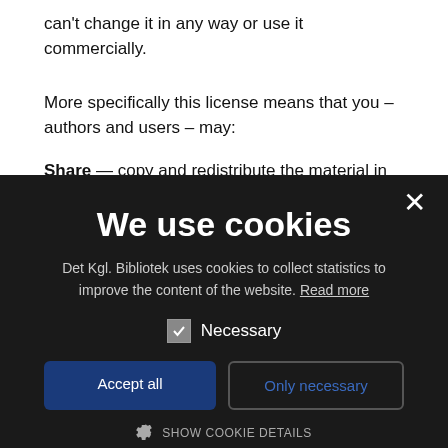can't change it in any way or use it commercially.
More specifically this license means that you – authors and users – may:
Share — copy and redistribute the material in any medium or form
We use cookies
Det Kgl. Bibliotek uses cookies to collect statistics to improve the content of the website. Read more
Necessary
Accept all
Only necessary
SHOW COOKIE DETAILS